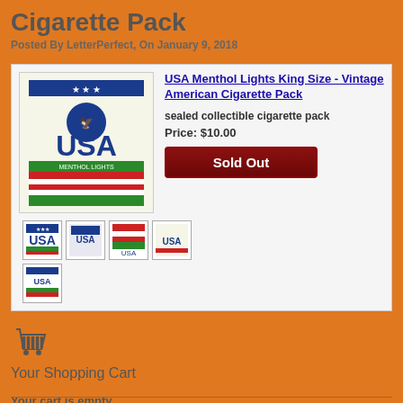Cigarette Pack
Posted By LetterPerfect, On January 9, 2018
[Figure (photo): Product listing box showing a USA Menthol Lights King Size vintage American cigarette pack with thumbnail images]
USA Menthol Lights King Size - Vintage American Cigarette Pack
sealed collectible cigarette pack
Price: $10.00
Sold Out
[Figure (illustration): Shopping cart icon]
Your Shopping Cart
Your cart is empty
Visit The Shop